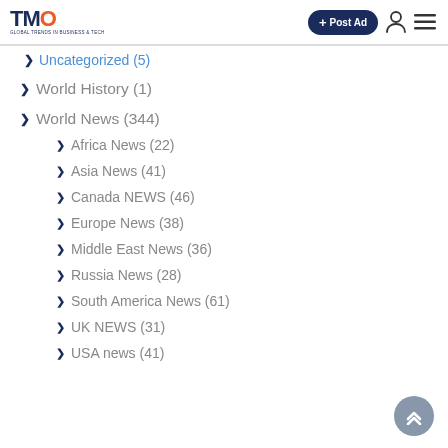TMO | + Post Ad
Uncategorized (5)
World History (1)
World News (344)
Africa News (22)
Asia News (41)
Canada NEWS (46)
Europe News (38)
Middle East News (36)
Russia News (28)
South America News (61)
UK NEWS (31)
USA news (41)